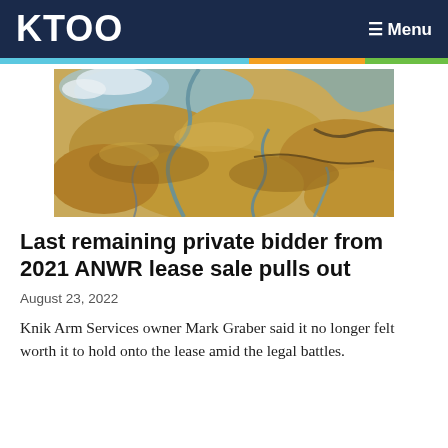KTOO   ≡ Menu
[Figure (photo): Aerial photograph of Arctic tundra landscape showing winding water channels, golden-brown terrain, and patches of snow or ice.]
Last remaining private bidder from 2021 ANWR lease sale pulls out
August 23, 2022
Knik Arm Services owner Mark Graber said it no longer felt worth it to hold onto the lease amid the legal battles.